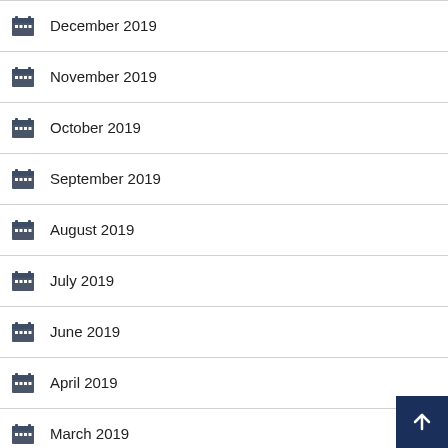December 2019
November 2019
October 2019
September 2019
August 2019
July 2019
June 2019
April 2019
March 2019
December 2018
October 2018
September 2018
August 2018